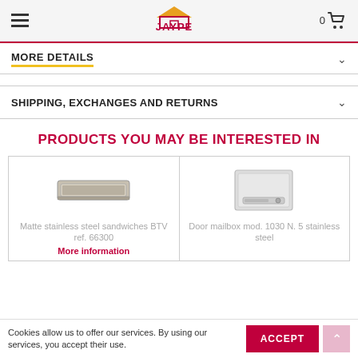JAYPE
MORE DETAILS
SHIPPING, EXCHANGES AND RETURNS
PRODUCTS YOU MAY BE INTERESTED IN
[Figure (photo): Matte stainless steel letter slot/mail slot, horizontal rectangular shape, silver color]
Matte stainless steel sandwiches BTV ref. 66300
More information
[Figure (photo): Door mailbox mod. 1030 N. 5, white metal box with small window, square shape]
Door mailbox mod. 1030 N. 5 stainless steel
Cookies allow us to offer our services. By using our services, you accept their use.
ACCEPT